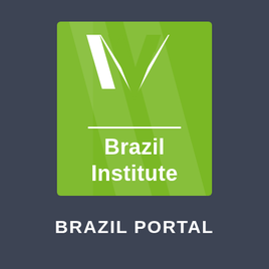[Figure (logo): Wilson Center Brazil Institute logo — green square with white W lettermark above a horizontal line and 'Brazil Institute' text in white, overlaid with subtle diagonal chevron watermark, on a dark slate-blue background]
BRAZIL PORTAL
[Figure (other): Footer bar with Follow button (list/plus icon) and ellipsis menu on light gray background]